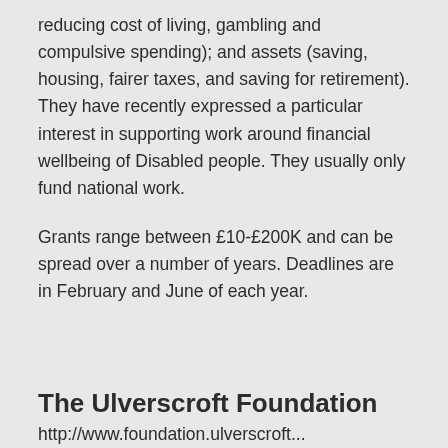reducing cost of living, gambling and compulsive spending); and assets (saving, housing, fairer taxes, and saving for retirement). They have recently expressed a particular interest in supporting work around financial wellbeing of Disabled people. They usually only fund national work.
Grants range between £10-£200K and can be spread over a number of years. Deadlines are in February and June of each year.
The Ulverscroft Foundation
http://www.foundation.ulverscroft...